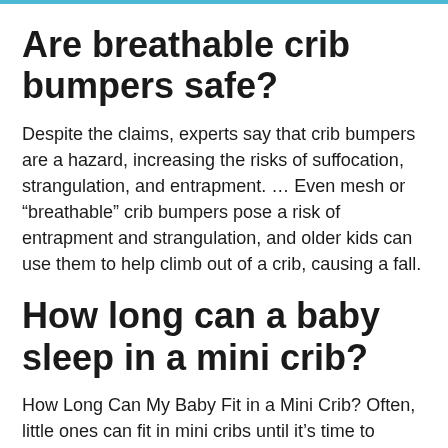Are breathable crib bumpers safe?
Despite the claims, experts say that crib bumpers are a hazard, increasing the risks of suffocation, strangulation, and entrapment. … Even mesh or “breathable” crib bumpers pose a risk of entrapment and strangulation, and older kids can use them to help climb out of a crib, causing a fall.
How long can a baby sleep in a mini crib?
How Long Can My Baby Fit in a Mini Crib? Often, little ones can fit in mini cribs until it’s time to transition to a toddler or twin bed—